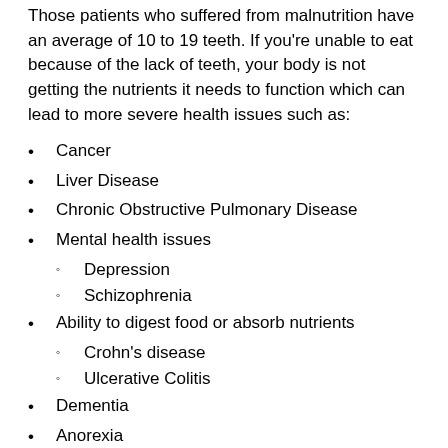Those patients who suffered from malnutrition have an average of 10 to 19 teeth. If you're unable to eat because of the lack of teeth, your body is not getting the nutrients it needs to function which can lead to more severe health issues such as:
Cancer
Liver Disease
Chronic Obstructive Pulmonary Disease
Mental health issues
Depression
Schizophrenia
Ability to digest food or absorb nutrients
Crohn's disease
Ulcerative Colitis
Dementia
Anorexia
To prevent any of the following health issues due to